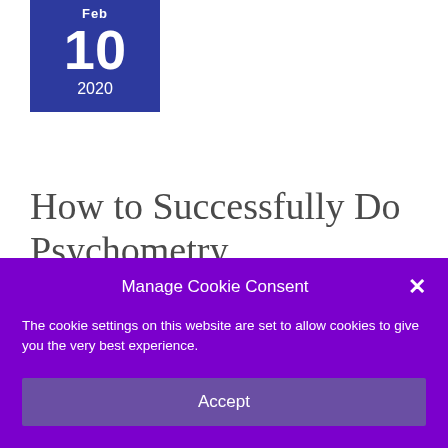[Figure (other): Date badge showing Feb 10 2020 on a dark blue background]
How to Successfully Do Psychometry
1 Comment / Psychic Development / By admin
Manage Cookie Consent
The cookie settings on this website are set to allow cookies to give you the very best experience.
Accept